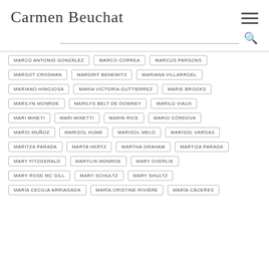Carmen Beuchat
MARCO ANTONIO GONZÁLEZ
MARCO CORREA
MARCUS PARSONS
MARGOT CROSMAN
MARGRIT BENEWITZ
MARIANA VILLARROEL
MARIANO HINOJOSA
MARIA VICTORIA GUTTIERREZ
MARIE BROOKS
MARILYN MONROE
MARILYS BELT DE DOWNEY
MARILÚ VIAUX
MARI MINETI
MARI MINETTI
MARIN RICE
MARIO CÓRDOVA
MARIO MUÑOZ
MARISOL HUME
MARISOL MELO
MARISOL VARGAS
MARITZA PARADA
MARTA HERTZ
MARTHA GRAHAM
MARTIZA PARADA
MARY FITZGERALD
MARYLIN MONROE
MARY OVERLIE
MARY ROSE MC GILL
MARY SCHULTZ
MARY SHULTZ
MARÍA CECILIA ARRIAGADA
MARÍA CRISTINE RIVIÈRE
MARÍA CÁCERES